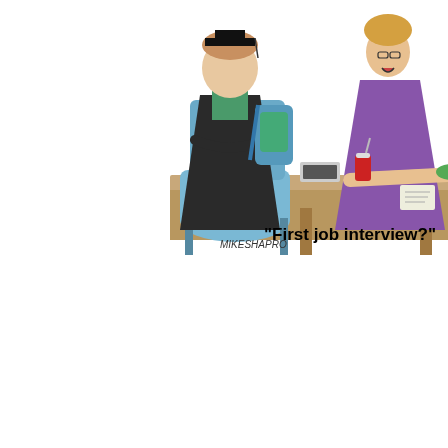[Figure (illustration): Cartoon by Mike Shapiro showing a job interview scene: a graduate in cap and gown with a backpack sits across from a female interviewer at a desk. The interviewer has her feet up on the desk and is holding a resume. There is a soda can on the desk.]
"First job interview?"
Get Ready Ahead of Time
Don't wait until the last minute to pick out an interview outfit, print ex notepad and pen. Have one good interview outfit ready, so you can inter worry about what to wear. When you have an interview lined up, get ev sure your interview attire is neat, tidy and appropriate for the type of firm portfolio with extra copies of your resume. Include a pen and paper for no
Be On Time (That Means Early)
Be on time for the interview. On time means five to ten minutes early. If n